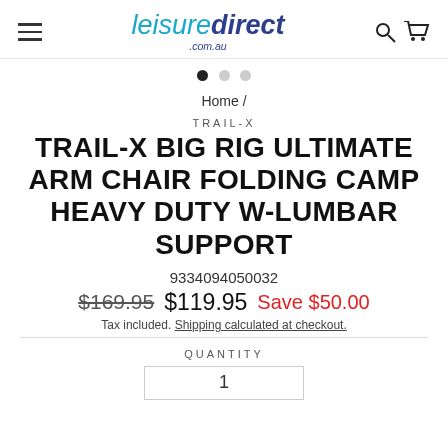leisuredirect .com.au
Home /
TRAIL-X
TRAIL-X BIG RIG ULTIMATE ARM CHAIR FOLDING CAMP HEAVY DUTY W-LUMBAR SUPPORT
9334094050032
$169.95  $119.95  Save $50.00
Tax included. Shipping calculated at checkout.
QUANTITY